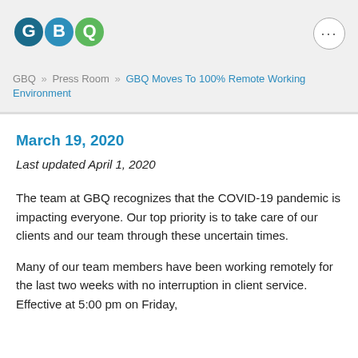[Figure (logo): GBQ logo with three colored circles: G in teal/dark blue, B in blue, Q in green]
GBQ » Press Room » GBQ Moves To 100% Remote Working Environment
March 19, 2020
Last updated April 1, 2020
The team at GBQ recognizes that the COVID-19 pandemic is impacting everyone. Our top priority is to take care of our clients and our team through these uncertain times.
Many of our team members have been working remotely for the last two weeks with no interruption in client service. Effective at 5:00 pm on Friday,